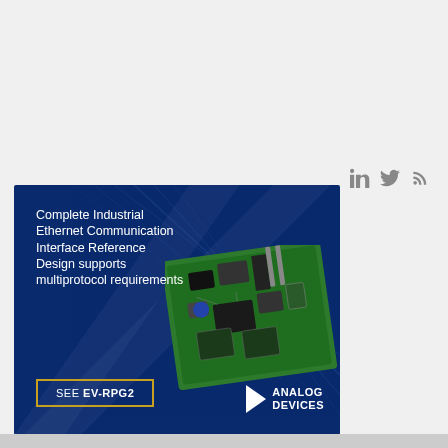[Figure (logo): Social media icons: LinkedIn, Twitter, RSS feed]
[Figure (illustration): Analog Devices advertisement banner: dark blue background with diagonal line decorations, showing a green PCB circuit board (EV-RPG2), text reading 'Complete Industrial Ethernet Communication Interface Reference Design supports multiprotocol requirements', a 'SEE EV-RPG2' button with gold/orange border, and the Analog Devices logo in white at bottom right.]